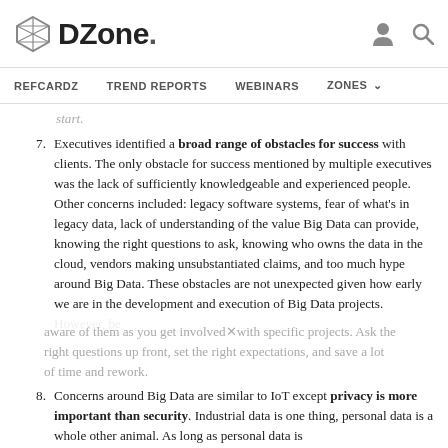DZone. [navigation: REFCARDZ, TREND REPORTS, WEBINARS, ZONES]
start.
7. Executives identified a broad range of obstacles for success with clients. The only obstacle for success mentioned by multiple executives was the lack of sufficiently knowledgeable and experienced people. Other concerns included: legacy software systems, fear of what's in legacy data, lack of understanding of the value Big Data can provide, knowing the right questions to ask, knowing who owns the data in the cloud, vendors making unsubstantiated claims, and too much hype around Big Data. These obstacles are not unexpected given how early we are in the development and execution of Big Data projects. However, be aware of them as you get involved with specific projects. Ask the right questions up front, set the right expectations, and save a lot of time and rework.
8. Concerns around Big Data are similar to IoT except privacy is more important than security. Industrial data is one thing, personal data is a whole other animal. As long as personal data is